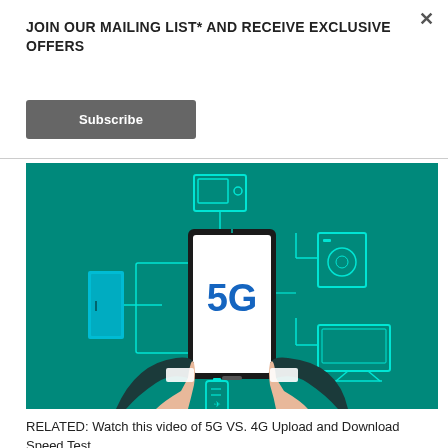JOIN OUR MAILING LIST* AND RECEIVE EXCLUSIVE OFFERS
Subscribe
[Figure (illustration): A flat-style illustration on a teal background showing two hands holding a smartphone displaying '5G' in blue text. Around the phone are connected device icons: a microwave/TV, a washer, a monitor, a battery/phone icon, and a door/router — all in cyan/light blue outline style, representing IoT devices connected via 5G.]
RELATED: Watch this video of 5G VS. 4G Upload and Download Speed Test